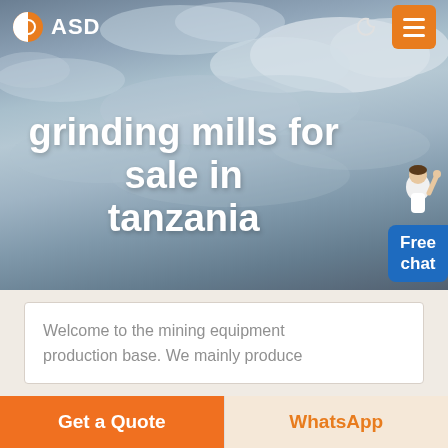[Figure (screenshot): Website screenshot showing ASD brand logo with orange half-circle icon, moon icon, and orange hamburger menu button in navbar over a cloudy sky hero image]
grinding mills for sale in tanzania
[Figure (illustration): Chat widget with a person figure and blue bubble reading 'Free chat']
Welcome to the mining equipment production base. We mainly produce
Get a Quote
WhatsApp